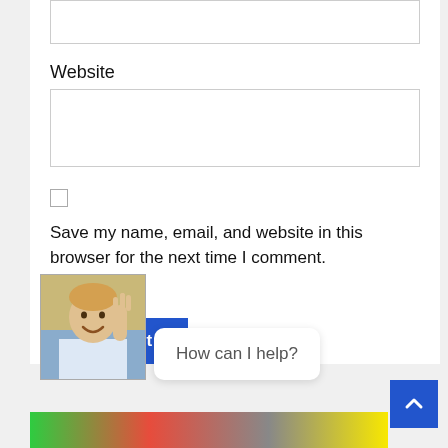[Figure (screenshot): Top portion of a web form input box (text area), partially visible at the top of the page]
Website
[Figure (screenshot): Website input text field (empty)]
[Figure (screenshot): Checkbox (unchecked)]
Save my name, email, and website in this browser for the next time I comment.
[Figure (screenshot): Blue 'Post Comment' button with red notification badge showing '2']
[Figure (screenshot): Chat widget with avatar of a person waving and speech bubble saying 'How can I help?']
[Figure (screenshot): Blue scroll-to-top button with upward arrow chevron in bottom right corner]
[Figure (screenshot): Partial colorful image strip at the very bottom of the page]